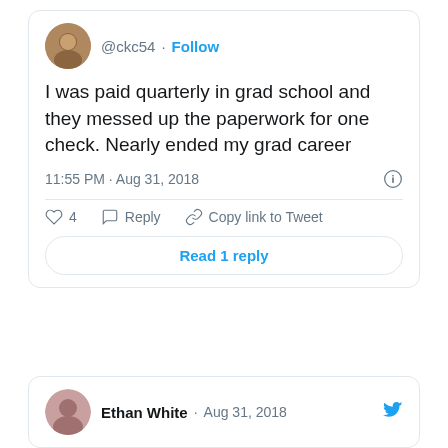[Figure (screenshot): Tweet from @ckc54 with text: I was paid quarterly in grad school and they messed up the paperwork for one check. Nearly ended my grad career. Posted 11:55 PM · Aug 31, 2018. Shows 4 likes, Reply, Copy link to Tweet actions, and Read 1 reply button.]
[Figure (screenshot): Partial tweet card from Ethan White · Aug 31, 2018 with Twitter bird icon visible at bottom of page.]